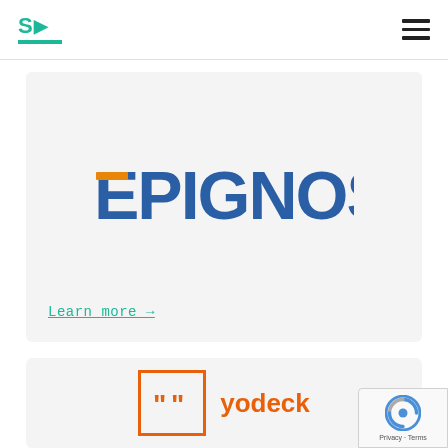S▶ [logo with green underline] [hamburger menu]
[Figure (logo): Epignosis company logo - E in orange/blue colors followed by PIGNOSIS in blue, centered in a light gray card]
Learn more →
[Figure (logo): Yodeck logo with orange quote marks in a square box and 'yodeck' text in orange, in a light gray card]